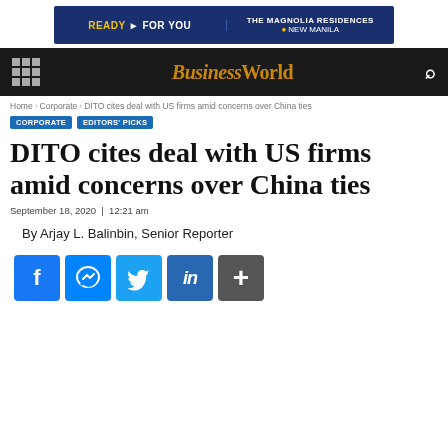[Figure (other): Advertisement banner for The Magnolia Residences, New Manila. Dark blue background with 'READY FOR YOU' text on left and 'THE MAGNOLIA RESIDENCES, NEW MANILA' on right.]
BusinessWorld
Home › Corporate › DITO cites deal with US firms amid concerns over China ties
CORPORATE   EDITORS' PICKS
DITO cites deal with US firms amid concerns over China ties
September 18, 2020  |  12:21 am
By Arjay L. Balinbin, Senior Reporter
[Figure (other): Social sharing icons row: Facebook, Messenger, Twitter, LinkedIn, More (+)]